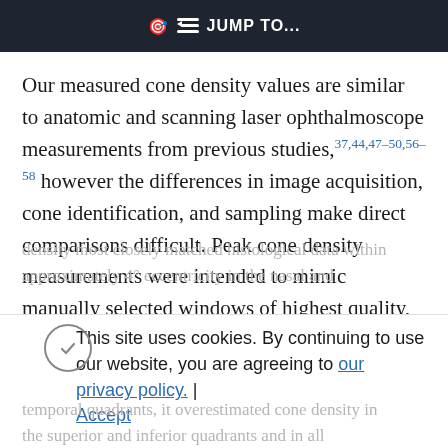JUMP TO...
Our measured cone density values are similar to anatomic and scanning laser ophthalmoscope measurements from previous studies,37,44,47–50,56–58 however the differences in image acquisition, cone identification, and sampling make direct comparisons difficult. Peak cone density measurements were intended to mimic manually selected windows of highest quality, so we anticipated the measurements from this sampling method would most closely resemble histological data. However, while peak
density most closely matched histological data within approximately 4° eccentricity in the nasal and
This site uses cookies. By continuing to use our website, you are agreeing to our privacy policy. Accept
temporal quadrants, it overestimated cone density in the superior and inferior quadrants and in all